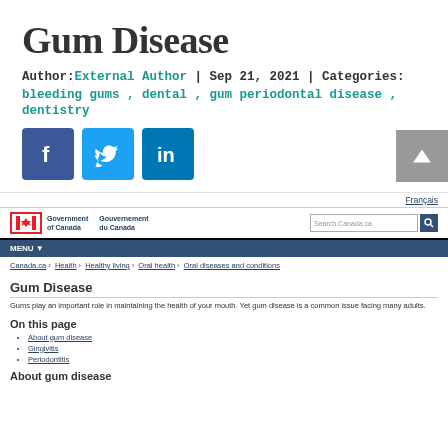Gum Disease
Author: External Author | Sep 21, 2021 | Categories:
bleeding gums , dental , gum periodontal disease , dentistry
[Figure (other): Social media sharing icons: Facebook (blue square with f), Twitter (light blue square with bird), LinkedIn (blue square with in)]
[Figure (screenshot): Screenshot of Canada.ca website showing Gum Disease page with Government of Canada header, navigation menu, breadcrumb trail (Canada.ca > Health > Healthy living > Oral health > Oral diseases and conditions), page title Gum Disease, introductory text about gums playing an important role in mouth health, On this page section with links to About gum disease, Gingivitis, Periodontitis, and About gum disease section header.]